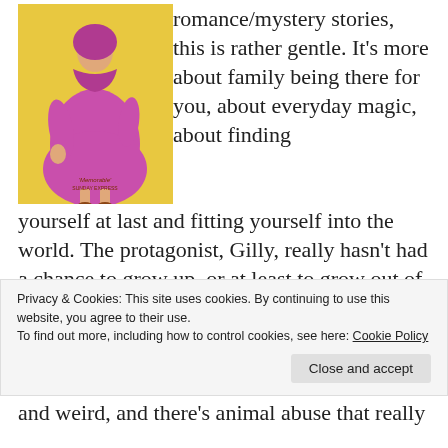[Figure (illustration): Book cover illustration showing a woman in a pink/magenta coat on a yellow background, with small text reading 'Memorable' and 'SUNDAY EXPRESS']
romance/mystery stories, this is rather gentle. It’s more about family being there for you, about everyday magic, about finding yourself at last and fitting yourself into the world. The protagonist, Gilly, really hasn’t had a chance to grow up, or at least to grow out of her parents’ expectations, and here she finds space to do exactly that, thanks to the cottage left for her by her godmother.
Privacy & Cookies: This site uses cookies. By continuing to use this website, you agree to their use.
To find out more, including how to control cookies, see here: Cookie Policy
and weird, and there’s animal abuse that really